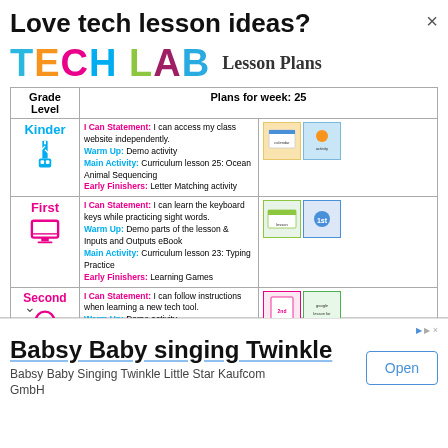Love tech lesson ideas?
[Figure (logo): TECH LAB Lesson Plans colorful block letters logo]
| Grade Level | Plans for week: 25 |
| --- | --- |
| Kinder | I Can Statement: I can access my class website independently.
Warm Up: Demo activity
Main Activity: Curriculum lesson 25: Ocean Animal Sequencing
Early Finishers: Letter Matching activity |
| First | I Can Statement: I can learn the keyboard keys while practicing sight words.
Warm Up: Demo parts of the lesson & Inputs and Outputs eBook
Main Activity: Curriculum lesson 23: Typing Practice
Early Finishers: Learning Games |
| Second | I Can Statement: I can follow instructions when learning a new tech tool.
Warm Up: Demo activity
Main Activity: Word or Docs Lesson 1
Early Finishers: Free choice from #Extras menu |
| Third | I Can Statement: I can follow the steps of the design process.
Warm Up: Demo activity
Main Activity: Geoboard STEM Challenge for the month
Early Finishers: Winter Text Formatting |
Babsy Baby singing Twinkle
Babsy Baby Singing Twinkle Little Star Kaufcom GmbH
Open